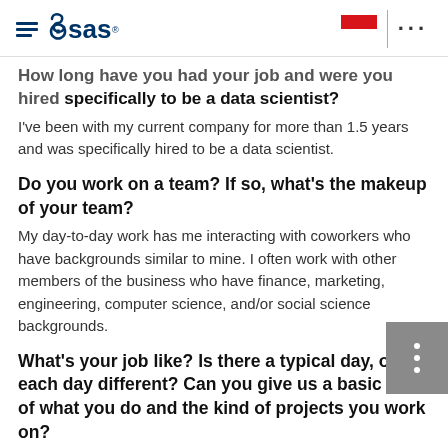SAS (logo with hamburger menu, Czech flag, and ellipsis menu)
How long have you had your job and were you hired specifically to be a data scientist?
I've been with my current company for more than 1.5 years and was specifically hired to be a data scientist.
Do you work on a team? If so, what's the makeup of your team?
My day-to-day work has me interacting with coworkers who have backgrounds similar to mine. I often work with other members of the business who have finance, marketing, engineering, computer science, and/or social science backgrounds.
What's your job like? Is there a typical day, or is each day different? Can you give us a basic idea of what you do and the kind of projects you work on?